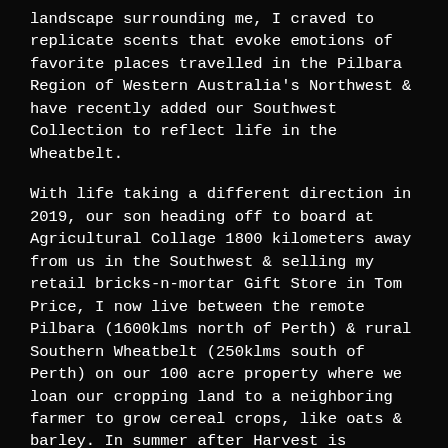landscape surrounding me, I craved to replicate scents that evoke emotions of favorite places travelled in the Pilbara Region of Western Australia's Northwest & have recently added our Southwest Collection to reflect life in the Wheatbelt.
With life taking a different direction in 2019, our son heading off to board at Agricultural Collage 1800 kilometers away from us in the Southwest & selling my retail bricks-n-mortar Gift Store in Tom Price, I now live between the remote Pilbara (1600klms north of Perth) & rural Southern Wheatbelt (250klms south of Perth) on our 100 acre property where we loan our cropping land to a neighboring farmer to grow cereal crops, like oats & barley. In summer after Harvest is complete, we run up to 300 head of Merino ewes to keep the stubble down.
In mid 2019 my purpose built candle workshop was complete on the farm. Having no access to power or